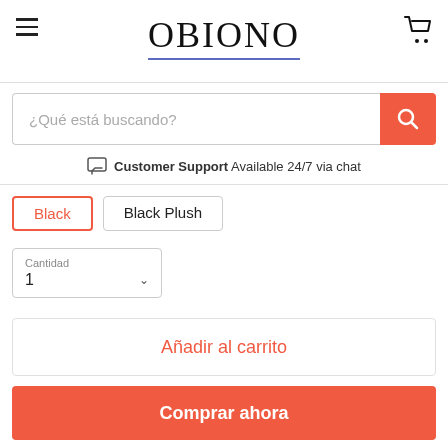OBIONO
¿Qué está buscando?
Customer Support Available 24/7 via chat
Black
Black Plush
Cantidad
1
Añadir al carrito
Comprar ahora